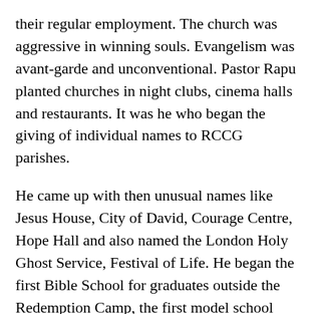their regular employment. The church was aggressive in winning souls. Evangelism was avant-garde and unconventional. Pastor Rapu planted churches in night clubs, cinema halls and restaurants. It was he who began the giving of individual names to RCCG parishes.
He came up with then unusual names like Jesus House, City of David, Courage Centre, Hope Hall and also named the London Holy Ghost Service, Festival of Life. He began the first Bible School for graduates outside the Redemption Camp, the first model school (The Redeemers International School),